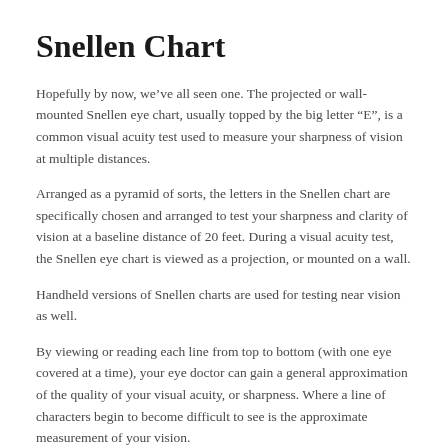Snellen Chart
Hopefully by now, we’ve all seen one. The projected or wall-mounted Snellen eye chart, usually topped by the big letter “E”, is a common visual acuity test used to measure your sharpness of vision at multiple distances.
Arranged as a pyramid of sorts, the letters in the Snellen chart are specifically chosen and arranged to test your sharpness and clarity of vision at a baseline distance of 20 feet. During a visual acuity test, the Snellen eye chart is viewed as a projection, or mounted on a wall.
Handheld versions of Snellen charts are used for testing near vision as well.
By viewing or reading each line from top to bottom (with one eye covered at a time), your eye doctor can gain a general approximation of the quality of your visual acuity, or sharpness. Where a line of characters begin to become difficult to see is the approximate measurement of your vision.